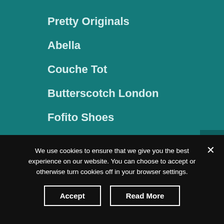Pretty Originals
Abella
Couche Tot
Butterscotch London
Fofito Shoes
We use cookies to ensure that we give you the best experience on our website. You can choose to accept or otherwise turn cookies off in your browser settings.